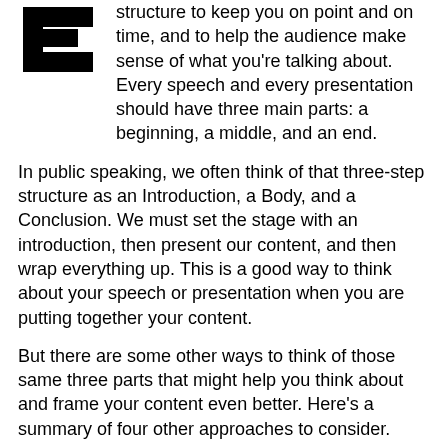[Figure (illustration): Large decorative drop capital letter E in bold black, blocky style]
structure to keep you on point and on time, and to help the audience make sense of what you're talking about. Every speech and every presentation should have three main parts: a beginning, a middle, and an end.
In public speaking, we often think of that three-step structure as an Introduction, a Body, and a Conclusion. We must set the stage with an introduction, then present our content, and then wrap everything up. This is a good way to think about your speech or presentation when you are putting together your content.
But there are some other ways to think of those same three parts that might help you think about and frame your content even better. Here's a summary of four other approaches to consider.
1) Problem, Solution, Result. What is the problem, what is the solution, and what great outcomes happen when we fix